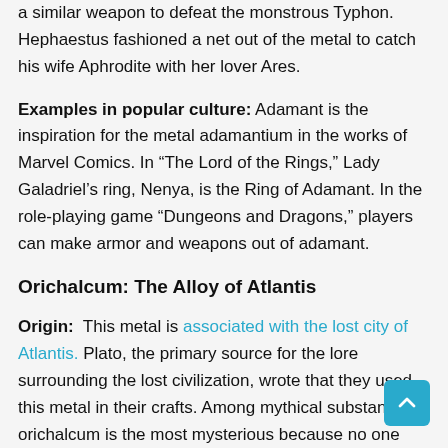a similar weapon to defeat the monstrous Typhon. Hephaestus fashioned a net out of the metal to catch his wife Aphrodite with her lover Ares.
Examples in popular culture: Adamant is the inspiration for the metal adamantium in the works of Marvel Comics. In “The Lord of the Rings,” Lady Galadriel’s ring, Nenya, is the Ring of Adamant. In the role-playing game “Dungeons and Dragons,” players can make armor and weapons out of adamant.
Orichalcum: The Alloy of Atlantis
Origin: This metal is associated with the lost city of Atlantis. Plato, the primary source for the lore surrounding the lost civilization, wrote that they used this metal in their crafts. Among mythical substances, orichalcum is the most mysterious because no one knows what made it so special. Although some writers